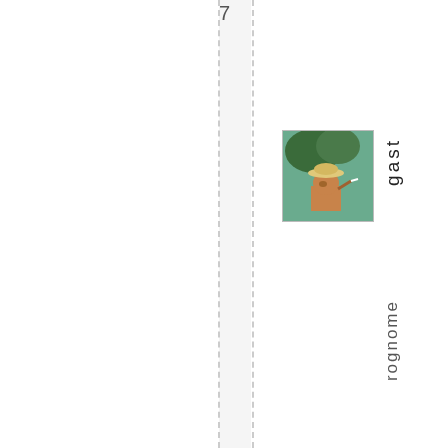[Figure (photo): Small square avatar photo of a person wearing a hat, appearing to smoke, with trees/foliage in background. Has a light border.]
gast
rognome
May 31, 2011 at 2: